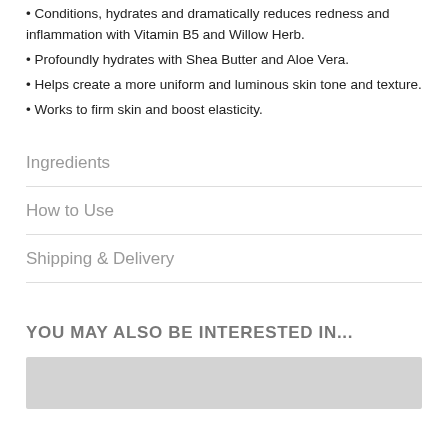• Conditions, hydrates and dramatically reduces redness and inflammation with Vitamin B5 and Willow Herb.
• Profoundly hydrates with Shea Butter and Aloe Vera.
• Helps create a more uniform and luminous skin tone and texture.
• Works to firm skin and boost elasticity.
Ingredients
How to Use
Shipping & Delivery
YOU MAY ALSO BE INTERESTED IN...
[Figure (other): Gray placeholder image rectangle]